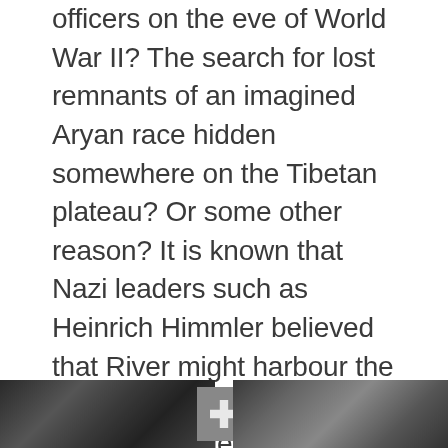officers on the eve of World War II? The search for lost remnants of an imagined Aryan race hidden somewhere on the Tibetan plateau? Or some other reason? It is known that Nazi leaders such as Heinrich Himmler believed that River might harbour the last of the original Aryan tribes, the legendary forefathers of what was considered the German race whose Aryan leaders were supposed to possess supernatural powers that the Nazis thought they could use to conquer the world. Ideas about an Aryan or master race began to appear in the popular media in the late nineteenth century.
[Figure (photo): A black and white photograph showing what appears to be historical figures, with a visible swastika symbol in the center portion of the image. The image is partially cut off at the bottom of the page.]